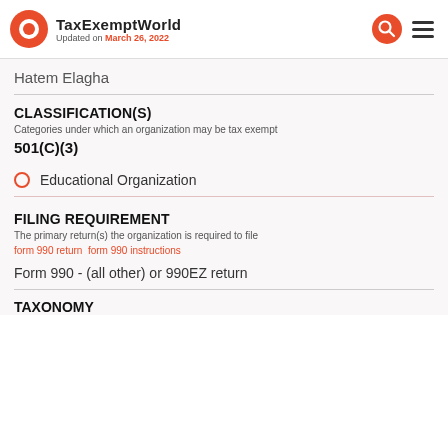TaxExemptWorld — Updated on March 26, 2022
Hatem Elagha
CLASSIFICATION(S)
Categories under which an organization may be tax exempt
501(C)(3)
Educational Organization
FILING REQUIREMENT
The primary return(s) the organization is required to file
form 990 return  form 990 instructions
Form 990 - (all other) or 990EZ return
TAXONOMY